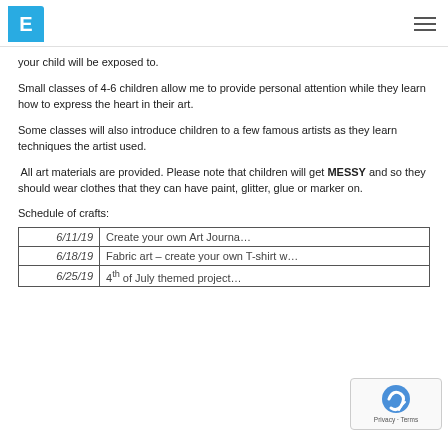[Figure (logo): Blue square logo with white letter E and diagonal cut corner, with hamburger menu icon on the right]
your child will be exposed to.
Small classes of 4-6 children allow me to provide personal attention while they learn how to express the heart in their art.
Some classes will also introduce children to a few famous artists as they learn techniques the artist used.
All art materials are provided. Please note that children will get MESSY and so they should wear clothes that they can have paint, glitter, glue or marker on.
Schedule of crafts:
| Date | Activity |
| --- | --- |
| 6/11/19 | Create your own Art Journa… |
| 6/18/19 | Fabric art – create your own T-shirt w… |
| 6/25/19 | 4th of July themed project… |